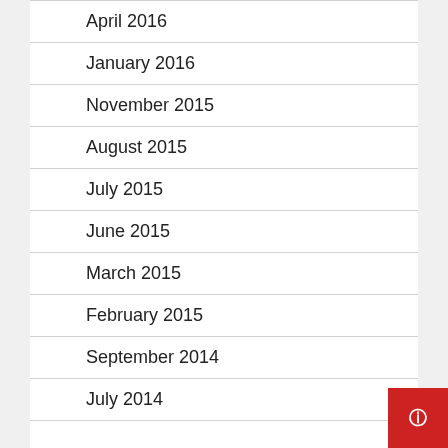April 2016
January 2016
November 2015
August 2015
July 2015
June 2015
March 2015
February 2015
September 2014
July 2014